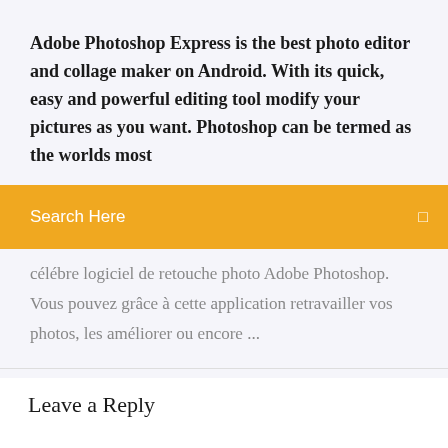Adobe Photoshop Express is the best photo editor and collage maker on Android. With its quick, easy and powerful editing tool modify your pictures as you want. Photoshop can be termed as the worlds most
Search Here
célébre logiciel de retouche photo Adobe Photoshop. Vous pouvez grâce à cette application retravailler vos photos, les améliorer ou encore ...
Leave a Reply